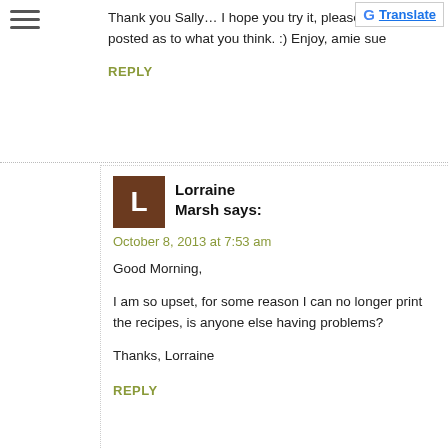[Figure (logo): Google Translate button with G logo in top right corner]
[Figure (other): Hamburger menu icon (three horizontal lines) in top left]
Thank you Sally… I hope you try it, please keep me posted as to what you think. :) Enjoy, amie sue
REPLY
[Figure (other): Brown square avatar with white letter L]
Lorraine Marsh says:
October 8, 2013 at 7:53 am
Good Morning,
I am so upset, for some reason I can no longer print the recipes, is anyone else having problems?
Thanks, Lorraine
REPLY